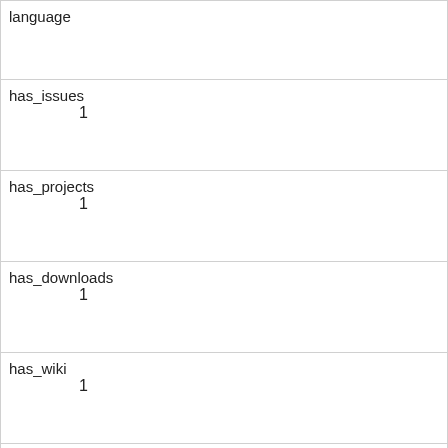| language |  |
| has_issues | 1 |
| has_projects | 1 |
| has_downloads | 1 |
| has_wiki | 1 |
| has_pages | 0 |
| forks_count | 6 |
| archived | 0 |
| disabled | 0 |
| open_issues_count | 0 |
| license |  |